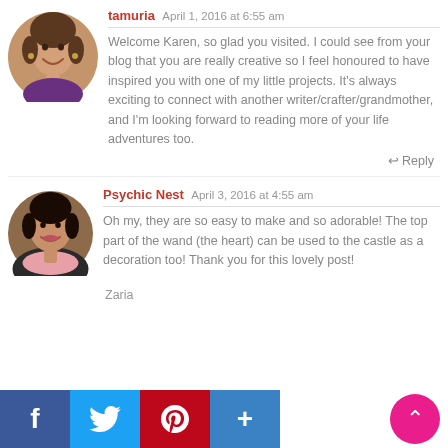tamuria  April 1, 2016 at 6:55 am
Welcome Karen, so glad you visited. I could see from your blog that you are really creative so I feel honoured to have inspired you with one of my little projects. It's always exciting to connect with another writer/crafter/grandmother, and I'm looking forward to reading more of your life adventures too.
↩ Reply
[Figure (photo): Circular avatar of a smiling older woman with dark hair, wearing earrings]
Psychic Nest  April 3, 2016 at 4:55 am
Oh my, they are so easy to make and so adorable! The top part of the wand (the heart) can be used to the castle as a decoration too! Thank you for this lovely post!
[Figure (photo): Circular avatar of a smiling dark-haired woman wearing a pink scarf]
Zaria
[Figure (infographic): Social share buttons: Facebook (blue), Twitter (light blue), Pinterest (red), Share/Plus (blue). Pink scroll-to-top button bottom right.]